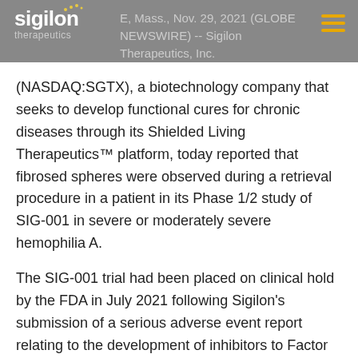CAMBRIDGE, Mass., Nov. 29, 2021 (GLOBE NEWSWIRE) -- Sigilon Therapeutics, Inc.
(NASDAQ:SGTX), a biotechnology company that seeks to develop functional cures for chronic diseases through its Shielded Living Therapeutics™ platform, today reported that fibrosed spheres were observed during a retrieval procedure in a patient in its Phase 1/2 study of SIG-001 in severe or moderately severe hemophilia A.
The SIG-001 trial had been placed on clinical hold by the FDA in July 2021 following Sigilon's submission of a serious adverse event report relating to the development of inhibitors to Factor VIII in one of three patients treated. This patient underwent...